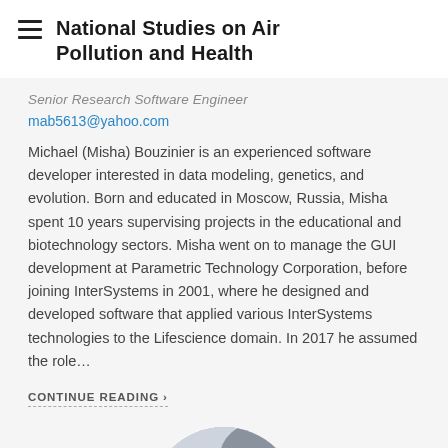National Studies on Air Pollution and Health
Senior Research Software Engineer
mab5613@yahoo.com
Michael (Misha) Bouzinier is an experienced software developer interested in data modeling, genetics, and evolution. Born and educated in Moscow, Russia, Misha spent 10 years supervising projects in the educational and biotechnology sectors. Misha went on to manage the GUI development at Parametric Technology Corporation, before joining InterSystems in 2001, where he designed and developed software that applied various InterSystems technologies to the Lifescience domain. In 2017 he assumed the role…
CONTINUE READING ›
[Figure (photo): Circular profile photo of a young woman with long dark hair, smiling, with an outdoor background.]